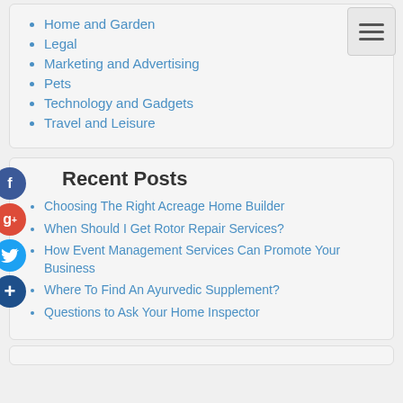Home and Garden
Legal
Marketing and Advertising
Pets
Technology and Gadgets
Travel and Leisure
Recent Posts
Choosing The Right Acreage Home Builder
When Should I Get Rotor Repair Services?
How Event Management Services Can Promote Your Business
Where To Find An Ayurvedic Supplement?
Questions to Ask Your Home Inspector